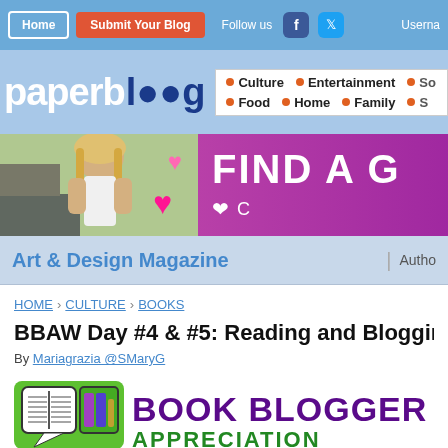Home | Submit Your Blog | Follow us | Username
[Figure (logo): paperblog logo with categories: Culture, Entertainment, So..., Food, Home, Family, S...]
[Figure (photo): Ad banner: woman photo with hearts, FIND A G text on purple background]
Art & Design Magazine | Autho...
HOME › CULTURE › BOOKS
BBAW Day #4 & #5: Reading and Blogging...
By Mariagrazia @SMaryG
[Figure (logo): Book Blogger Appreciation logo with green truck/books icon and purple text BOOK BLOGGER APPRECIATION]